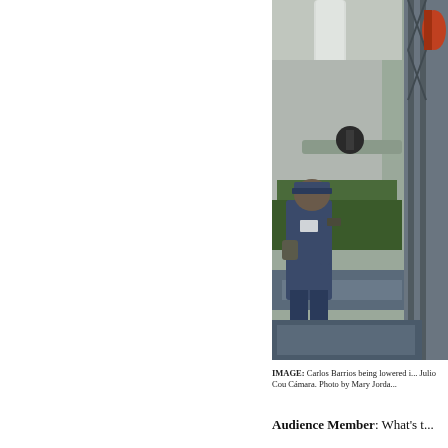[Figure (photo): A worker named Carlos Barrios wearing a blue uniform and cap, being lowered in an industrial facility. Pipes, green plants, and scaffolding/metal structure visible in background. Photo by Mary Jordan.]
IMAGE: Carlos Barrios being lowered i... Julio Cou Cámara. Photo by Mary Jorda...
Audience Member: What's t...